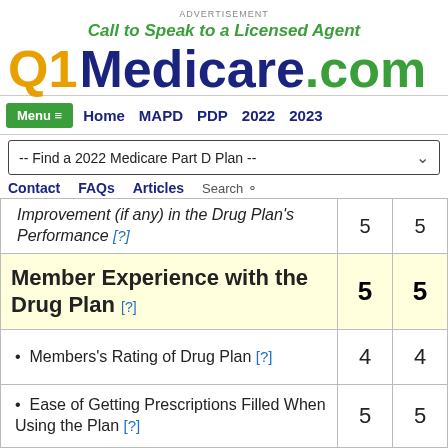ADVERTISEMENT
Call to Speak to a Licensed Agent
[Figure (logo): Q1Medicare.com logo with Q1 in gold, Medicare in dark blue, .com in green]
Menu  Home  MAPD  PDP  2022  2023
-- Find a 2022 Medicare Part D Plan --
Contact  FAQs  Articles  Search
| Category | Score 1 | Score 2 |
| --- | --- | --- |
| Improvement (if any) in the Drug Plan's Performance [?] | 5 | 5 |
| Member Experience with the Drug Plan [?] | 5 | 5 |
| Members's Rating of Drug Plan [?] | 4 | 4 |
| Ease of Getting Prescriptions Filled When Using the Plan [?] | 5 | 5 |